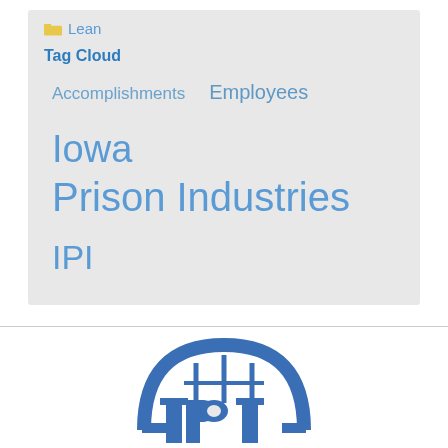Lean
Tag Cloud
Accomplishments   Employees   Iowa
Prison Industries   IPI
[Figure (logo): IPI (Iowa Prison Industries) logo: a blue arched bridge/building structure with the letters IPI beneath, and text 'Building Brighter Futures' below]